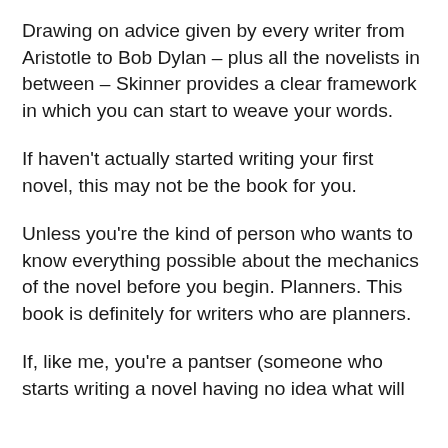Drawing on advice given by every writer from Aristotle to Bob Dylan – plus all the novelists in between – Skinner provides a clear framework in which you can start to weave your words.
If haven't actually started writing your first novel, this may not be the book for you.
Unless you're the kind of person who wants to know everything possible about the mechanics of the novel before you begin. Planners. This book is definitely for writers who are planners.
If, like me, you're a pantser (someone who starts writing a novel having no idea what will